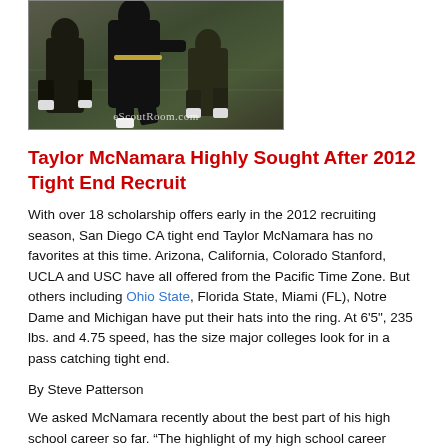[Figure (photo): Football player running on field, eScoutRoom.com watermark]
Taylor McNamara Highly Sought After 2012 Tight End Recruit
With over 18 scholarship offers early in the 2012 recruiting season, San Diego CA tight end Taylor McNamara has no favorites at this time. Arizona, California, Colorado Stanford, UCLA and USC have all offered from the Pacific Time Zone. But others including Ohio State, Florida State, Miami (FL), Notre Dame and Michigan have put their hats into the ring. At 6'5", 235 lbs. and 4.75 speed, has the size major colleges look for in a pass catching tight end.
By Steve Patterson
We asked McNamara recently about the best part of his high school career so far. “The highlight of my high school career